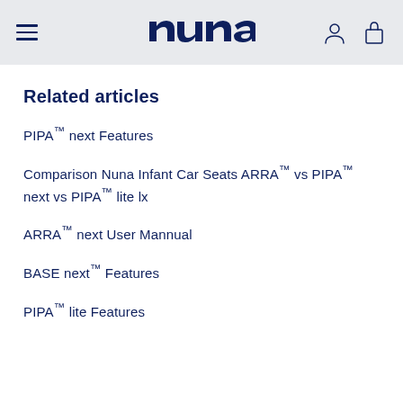nuna navigation header
Related articles
PIPA™ next Features
Comparison Nuna Infant Car Seats ARRA™ vs PIPA™ next vs PIPA™ lite lx
ARRA™ next User Mannual
BASE next™ Features
PIPA™ lite Features